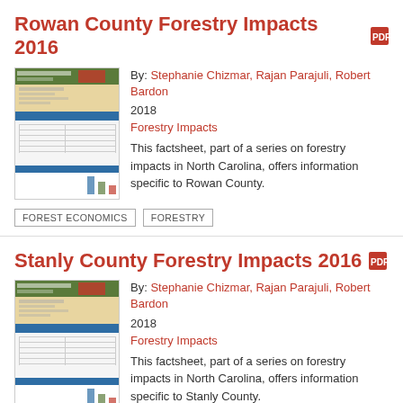Rowan County Forestry Impacts 2016
By: Stephanie Chizmar, Rajan Parajuli, Robert Bardon
2018
Forestry Impacts
This factsheet, part of a series on forestry impacts in North Carolina, offers information specific to Rowan County.
FOREST ECONOMICS
FORESTRY
Stanly County Forestry Impacts 2016
By: Stephanie Chizmar, Rajan Parajuli, Robert Bardon
2018
Forestry Impacts
This factsheet, part of a series on forestry impacts in North Carolina, offers information specific to Stanly County.